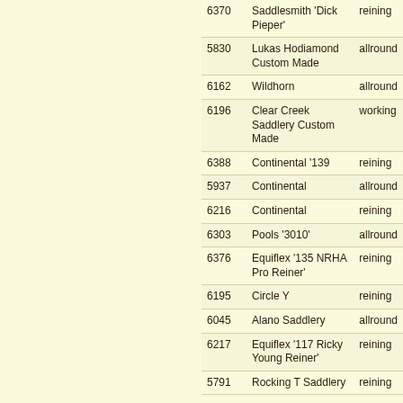| ID | Name | Type |
| --- | --- | --- |
| 6370 | Saddlesmith 'Dick Pieper' | reining |
| 5830 | Lukas Hodiamond Custom Made | allround |
| 6162 | Wildhorn | allround |
| 6196 | Clear Creek Saddlery Custom Made | working |
| 6388 | Continental '139 | reining |
| 5937 | Continental | allround |
| 6216 | Continental | reining |
| 6303 | Pools '3010' | allround |
| 6376 | Equiflex '135 NRHA Pro Reiner' | reining |
| 6195 | Circle Y | reining |
| 6045 | Alano Saddlery | allround |
| 6217 | Equiflex '117 Ricky Young Reiner' | reining |
| 5791 | Rocking T Saddlery | reining |